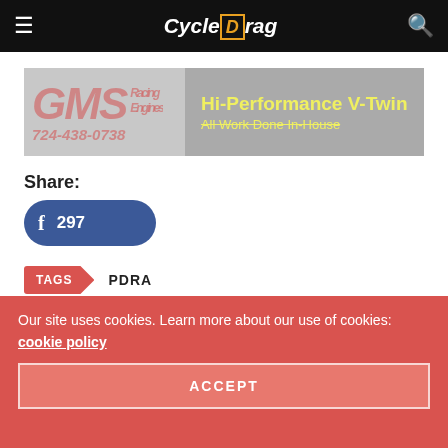CycleDrag — navigation bar with hamburger menu and search icon
[Figure (illustration): GMS Racing Engines advertisement banner. Shows GMS logo in red italic text with 'Racing Engines' and phone number 724-438-0738 on the left, and 'Hi-Performance V-Twin / All Work Done In-House' in yellow on grey background on the right.]
Share:
f 297 (Facebook share button showing 297 shares)
TAGS   PDRA
Jack Korpela
Our site uses cookies. Learn more about our use of cookies: cookie policy
ACCEPT